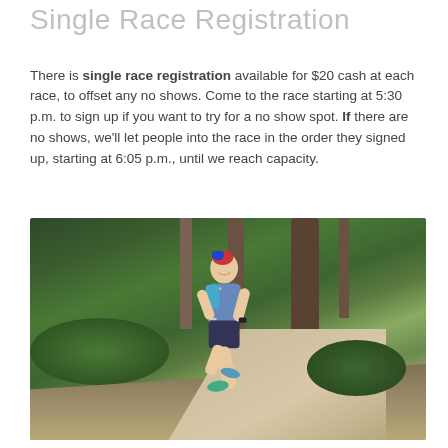Single Race Registration
There is single race registration available for $20 cash at each race, to offset any no shows. Come to the race starting at 5:30 p.m. to sign up if you want to try for a no show spot. If there are no shows, we'll let people into the race in the order they signed up, starting at 6:05 p.m., until we reach capacity.
[Figure (photo): A runner with colorful dyed hair wearing a hydration pack and blue shirt running along a forest trail path, smiling, surrounded by trees and ferns.]